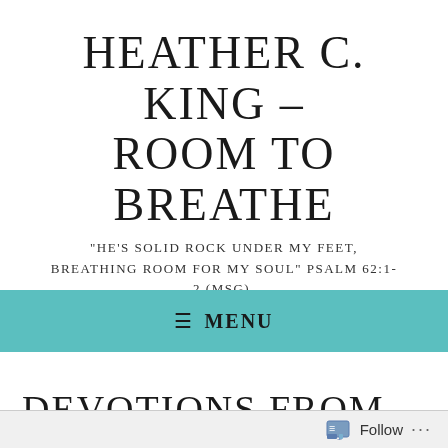HEATHER C. KING – ROOM TO BREATHE
"HE'S SOLID ROCK UNDER MY FEET, BREATHING ROOM FOR MY SOUL" PSALM 62:1-2 (MSG).
≡ MENU
DEVOTIONS FROM MY